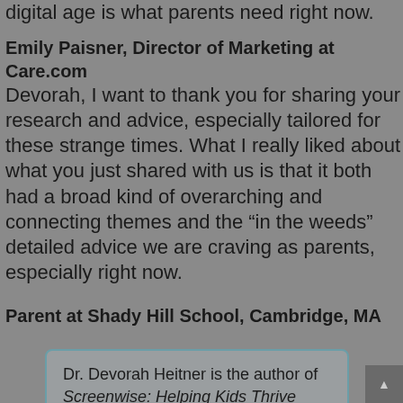digital age is what parents need right now.
Emily Paisner, Director of Marketing at Care.com
Devorah, I want to thank you for sharing your research and advice, especially tailored for these strange times. What I really liked about what you just shared with us is that it both had a broad kind of overarching and connecting themes and the “in the weeds” detailed advice we are craving as parents, especially right now.
Parent at Shady Hill School, Cambridge, MA
Dr. Devorah Heitner is the author of Screenwise: Helping Kids Thrive (and Survive) in Their Digital